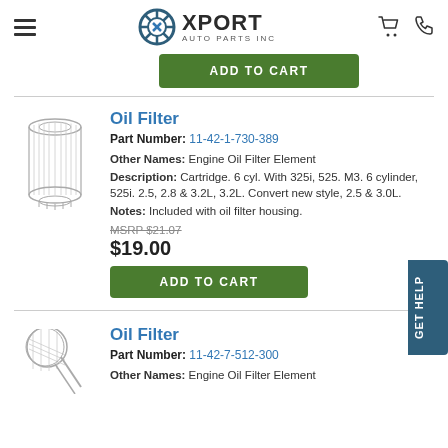Xport Auto Parts Inc
ADD TO CART
Oil Filter
Part Number: 11-42-1-730-389
Other Names: Engine Oil Filter Element
Description: Cartridge. 6 cyl. With 325i, 525. M3. 6 cylinder, 525i. 2.5, 2.8 & 3.2L, 3.2L. Convert new style, 2.5 & 3.0L.
Notes: Included with oil filter housing.
MSRP $21.07
$19.00
ADD TO CART
Oil Filter
Part Number: 11-42-7-512-300
Other Names: Engine Oil Filter Element